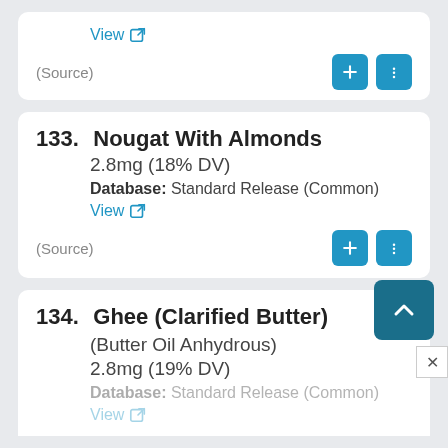(Source)  View
133. Nougat With Almonds
2.8mg (18% DV)
Database: Standard Release (Common)
View
(Source)
134. Ghee (Clarified Butter)
(Butter Oil Anhydrous)
2.8mg (19% DV)
Database: Standard Release (Common)
View